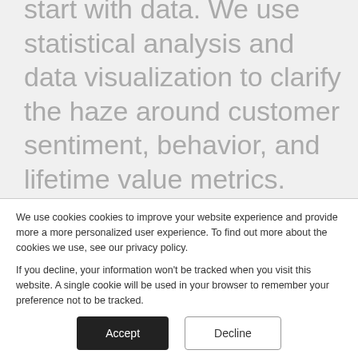start with data. We use statistical analysis and data visualization to clarify the haze around customer sentiment, behavior, and lifetime value metrics.  Our most recent study helped a financial institution understand a group of new customers, identify their ideal customers and craft a plan to acquire more ideal customers.
We use cookies cookies to improve your website experience and provide more a more personalized user experience. To find out more about the cookies we use, see our privacy policy.

If you decline, your information won't be tracked when you visit this website. A single cookie will be used in your browser to remember your preference not to be tracked.